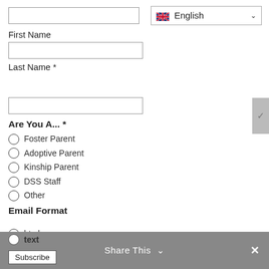[Figure (screenshot): Search input field (text box, empty)]
[Figure (screenshot): Language selector dropdown showing UK flag and 'English' with chevron]
First Name
[Figure (screenshot): First Name text input field (empty)]
Last Name *
[Figure (screenshot): Last Name text input field (empty)]
Are You A... *
Foster Parent
Adoptive Parent
Kinship Parent
DSS Staff
Other
Email Format
html
text
Subscribe
Share This
×